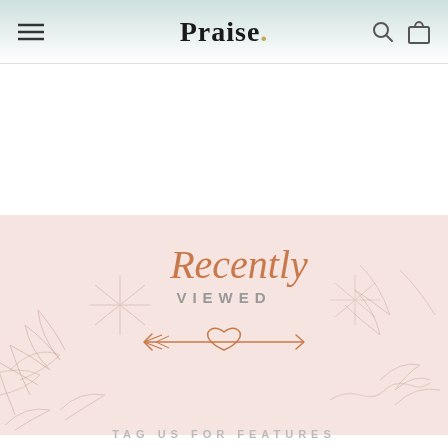Praise.
[Figure (illustration): Recently Viewed banner with pink floral/botanical background pattern, script text 'Recently' in rose-gold, 'VIEWED' in grey caps, and an arrow with heart decoration below]
TAG US FOR FEATURES